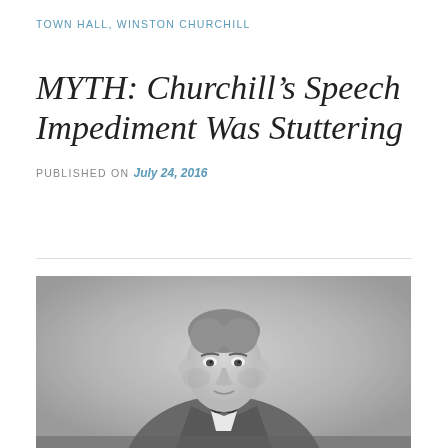TOWN HALL, WINSTON CHURCHILL
MYTH: Churchill’s Speech Impediment Was Stuttering
PUBLISHED ON July 24, 2016
[Figure (photo): Black and white portrait photograph of a young Winston Churchill wearing a suit jacket and bow tie, facing slightly to the right.]